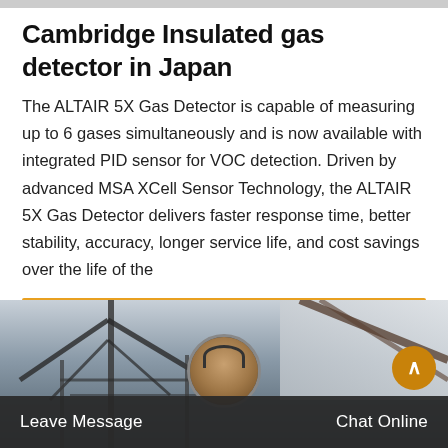Cambridge Insulated gas detector in Japan
The ALTAIR 5X Gas Detector is capable of measuring up to 6 gases simultaneously and is now available with integrated PID sensor for VOC detection. Driven by advanced MSA XCell Sensor Technology, the ALTAIR 5X Gas Detector delivers faster response time, better stability, accuracy, longer service life, and cost savings over the life of the
[Figure (other): Orange 'Get Price' call-to-action button]
[Figure (photo): Industrial facility structure with steel beams and infrastructure, dark toned photograph. Includes a scroll-to-top circular button and a customer service avatar.]
Leave Message    Chat Online